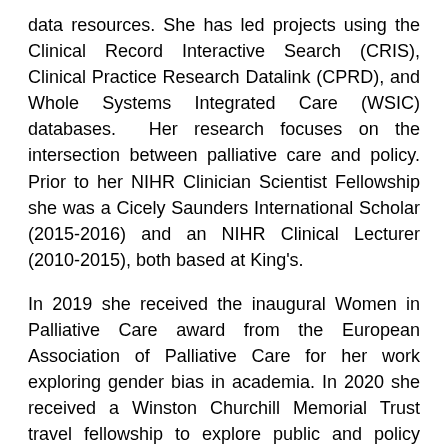data resources. She has led projects using the Clinical Record Interactive Search (CRIS), Clinical Practice Research Datalink (CPRD), and Whole Systems Integrated Care (WSIC) databases.  Her research focuses on the intersection between palliative care and policy. Prior to her NIHR Clinician Scientist Fellowship she was a Cicely Saunders International Scholar (2015-2016) and an NIHR Clinical Lecturer (2010-2015), both based at King's.
In 2019 she received the inaugural Women in Palliative Care award from the European Association of Palliative Care for her work exploring gender bias in academia. In 2020 she received a Winston Churchill Memorial Trust travel fellowship to explore public and policy engagement in palliative care.
She graduated from University College London Medical School (1999) with a BSc in Developmental biology (top 1st - 1996) and distinctions in clinical pharmacology and pathology. She trained in general medicine and oncology at Guys and St Thomas' Hospitals and the Royal Marsden Hospital.